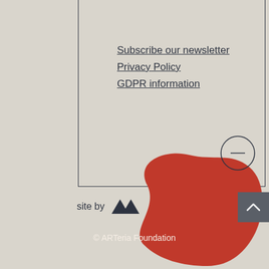Subscribe our newsletter
Privacy Policy
GDPR information
site by
[Figure (logo): Double chevron/mountain logo mark in dark color]
[Figure (illustration): Red organic blob shape covering the lower half of the page]
[Figure (other): Circle with minus/equals sign inside, outline only]
[Figure (other): Dark gray square button with upward chevron arrow]
© ARTeria Foundation